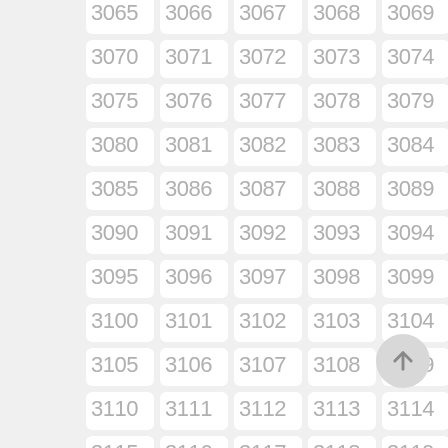[Figure (other): A grid of numbered cells from 3065 to 3119 arranged in 5 columns and 11 rows, each cell is a rounded white rectangle on a light gray background. Numbers are displayed in light gray. A circular floating action button with an up arrow is positioned at bottom right.]